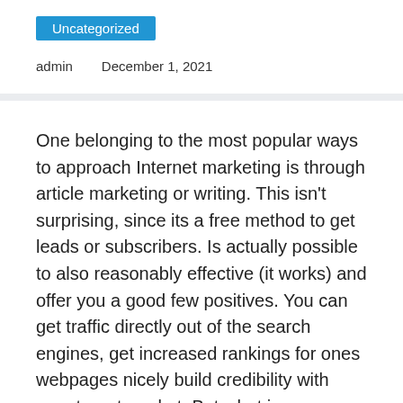Uncategorized
admin   December 1, 2021
One belonging to the most popular ways to approach Internet marketing is through article marketing or writing. This isn’t surprising, since its a free method to get leads or subscribers. Is actually possible to also reasonably effective (it works) and offer you a good few positives. You can get traffic directly out of the search engines, get increased rankings for ones webpages nicely build credibility with your target market. But what is your article internet marketing strategy? Since involving people capacity to screw it up and get little to nothing their particular articles except,